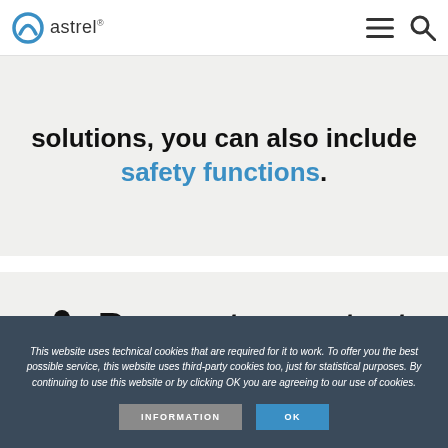astrel®
solutions, you can also include safety functions.
Request a contact
This website uses technical cookies that are required for it to work. To offer you the best possible service, this website uses third-party cookies too, just for statistical purposes. By continuing to use this website or by clicking OK you are agreeing to our use of cookies.